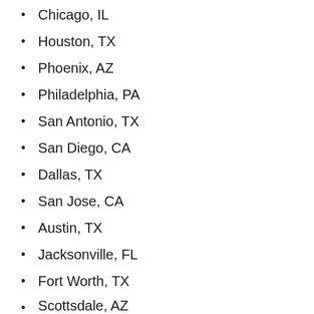Chicago, IL
Houston, TX
Phoenix, AZ
Philadelphia, PA
San Antonio, TX
San Diego, CA
Dallas, TX
San Jose, CA
Austin, TX
Jacksonville, FL
Fort Worth, TX
Scottsdale, AZ